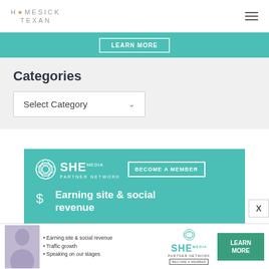HOMESICK TEXAN
[Figure (screenshot): Teal banner with partially visible LEARN MORE button]
Categories
Select Category
[Figure (infographic): SHE Media Partner Network advertisement. Shows logos, 'BECOME A MEMBER' button, 'Earning site & social revenue' and 'Traffic growth' items on teal background]
[Figure (infographic): Bottom banner ad: SHE Media Partner Network - Earning site & social revenue, Traffic growth, Speaking on our stages. LEARN MORE button.]